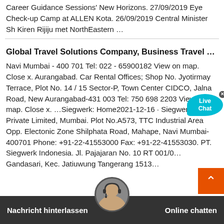Career Guidance Sessions' New Horizons. 27/09/2019 Eye Check-up Camp at ALLEN Kota. 26/09/2019 Central Minister Sh Kiren Rijiju met NorthEastern …
Global Travel Solutions Company, Business Travel …
Navi Mumbai - 400 701 Tel: 022 - 65900182 View on map. Close x. Aurangabad. Car Rental Offices; Shop No. Jyotirmay Terrace, Plot No. 14 / 15 Sector-P, Town Center CIDCO, Jalna Road, New Aurangabad-431 003 Tel: 750 698 2203 View on map. Close x. …Siegwerk: Home2021-12-16 · Siegwerk India Private Limited, Mumbai. Plot No.A573, TTC Industrial Area Opp. Electonic Zone Shilphata Road, Mahape, Navi Mumbai-400701 Phone: +91-22-41553000 Fax: +91-22-41553030. PT. Siegwerk Indonesia. Jl. Pajajaran No. 10 RT 001/0… Gandasari, Kec. Jatiuwung Tangerang 1513…